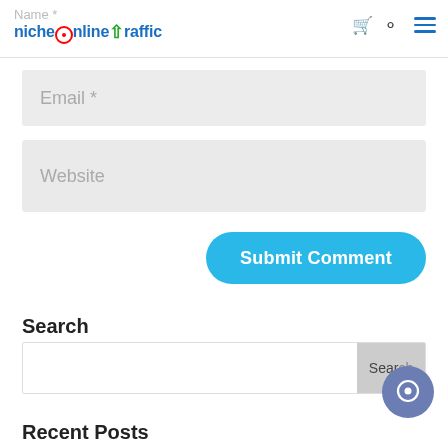niche online traffic — website navigation header with logo, cart, search, and menu icons
Email *
Website
Submit Comment
Search
Search (search bar with button)
Recent Posts